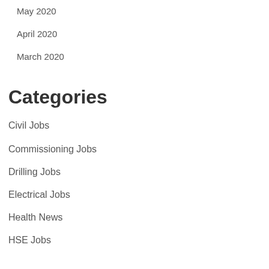May 2020
April 2020
March 2020
Categories
Civil Jobs
Commissioning Jobs
Drilling Jobs
Electrical Jobs
Health News
HSE Jobs